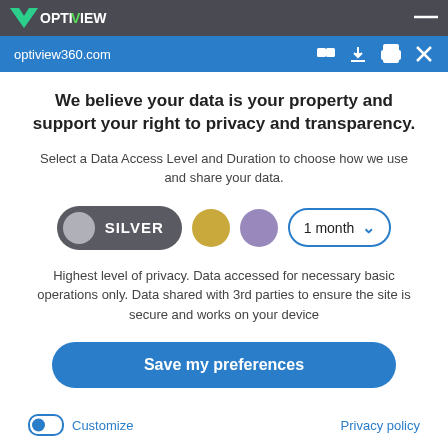optiview360.com
We believe your data is your property and support your right to privacy and transparency.
Select a Data Access Level and Duration to choose how we use and share your data.
[Figure (other): Data access level selector with Silver toggle button, gold circle, purple circle, and 1 month dropdown]
Highest level of privacy. Data accessed for necessary basic operations only. Data shared with 3rd parties to ensure the site is secure and works on your device
Save my preferences
Customize
Privacy policy